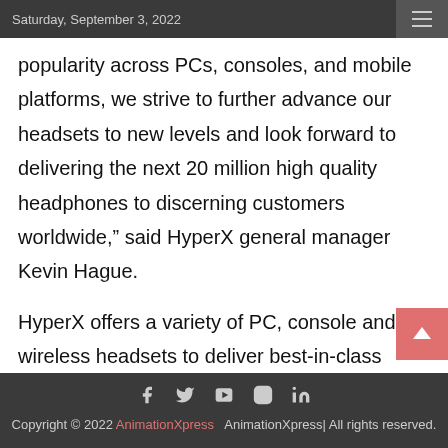Saturday, September 3, 2022
popularity across PCs, consoles, and mobile platforms, we strive to further advance our headsets to new levels and look forward to delivering the next 20 million high quality headphones to discerning customers worldwide,” said HyperX general manager Kevin Hague.
HyperX offers a variety of PC, console and wireless headsets to deliver best-in-class products designed to enhance the gaming
Copyright © 2022 AnimationXpress   AnimationXpress| All rights reserved.